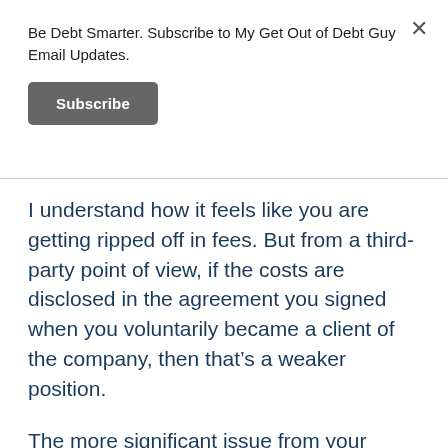Be Debt Smarter. Subscribe to My Get Out of Debt Guy Email Updates.
Subscribe
I understand how it feels like you are getting ripped off in fees. But from a third-party point of view, if the costs are disclosed in the agreement you signed when you voluntarily became a client of the company, then that’s a weaker position.
The more significant issue from your question is the lack of clarity on what is